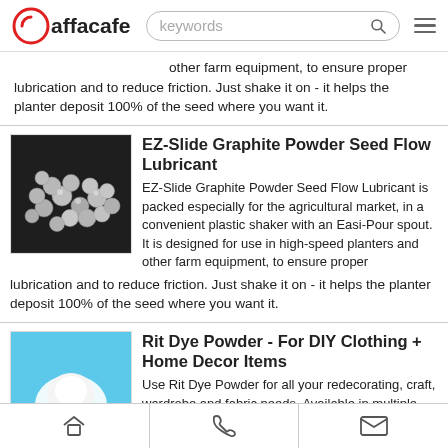Yaffacafe — keywords search bar with search icon and hamburger menu
other farm equipment, to ensure proper lubrication and to reduce friction. Just shake it on - it helps the planter deposit 100% of the seed where you want it.
[Figure (photo): Pile of small silver/grey graphite beads on a dark background]
EZ-Slide Graphite Powder Seed Flow Lubricant
EZ-Slide Graphite Powder Seed Flow Lubricant is packed especially for the agricultural market, in a convenient plastic shaker with an Easi-Pour spout. It is designed for use in high-speed planters and other farm equipment, to ensure proper lubrication and to reduce friction. Just shake it on - it helps the planter deposit 100% of the seed where you want it.
[Figure (photo): White powder on a light blue background — Rit Dye Powder product image]
Rit Dye Powder - For DIY Clothing + Home Decor Items
Use Rit Dye Powder for all your redecorating, craft, wardrobe and fabric needs. Available in multiple colours, Rit Dye is non-toxic and
Home | Phone | Mail navigation icons